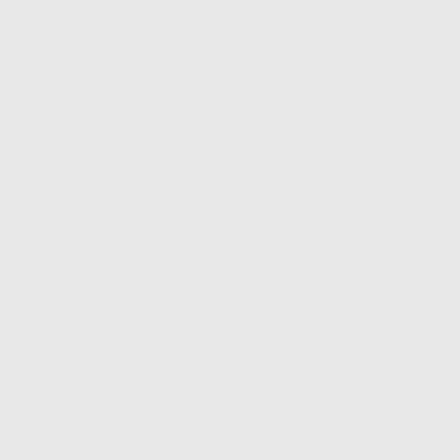being summoned to attend ask in the proper course of proceeding. withdraw. portation have been ex have been produced by that that a The Speaker said, it was the esta ascertain, by way to the House, b evidence, the nature of the facts, hon. gentleman was called to the Speaker. be adopted. Q. Your name, sir, is Hindson, the officer, examined Committee of the House of Com You are a sheriff's officer?-I a Did you arrest Mr. Campbell y day?-İ did. (The Order was here Eden, as Chairman Walcot-place what process, a civil or criminal action ?-On a special Capias for reason any circumstance, and wh Yes, he did. He stated that he v House of been out in the morni